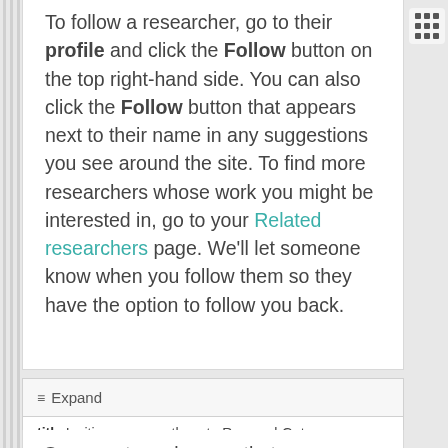To follow a researcher, go to their profile and click the Follow button on the top right-hand side. You can also click the Follow button that appears next to their name in any suggestions you see around the site. To find more researchers whose work you might be interested in, go to your Related researchers page. We'll let someone know when you follow them so they have the option to follow you back.
≡ Expand
title Inviting my co-authors to ResearchGate
One way to make sure that your publications gain maximum exposure